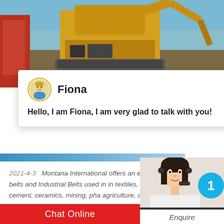[Figure (photo): Hero image showing large yellow mining/construction equipment (excavator or similar heavy machinery) working outdoors under a blue sky with dusty terrain]
Fiona
Hello, I am Fiona, I am very glad to talk with you!
2021-4-3   Montana International offers an e specialty belts and Industrial Belts used in in textiles, glass, cement, ceramics, mining, pha agriculture, automation, engineering and pow
[Figure (photo): Customer service agent photo - woman wearing headset, with blue circle badge showing number 1]
Need questions & suggestion?
Chat Now
Chat Online
Enquire